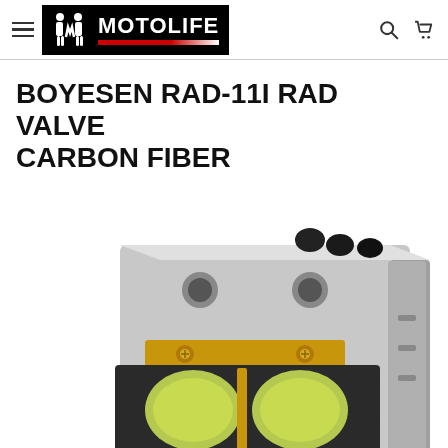MOTOLIFE — navigation header with hamburger menu, logo, search and cart icons
BOYESEN RAD-11I RAD VALVE CARBON FIBER
[Figure (photo): Close-up photo of a Boyesen RAD-11I Rad Valve Carbon Fiber product — a metal and carbon fiber reed valve assembly with yellow/green reed petals, gold screws, black caps on top, and aluminum body with Boyesen branding visible on the side. White background.]